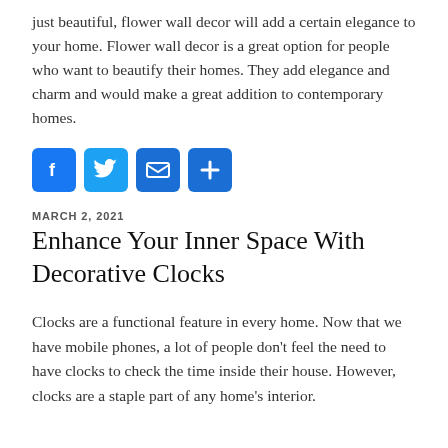just beautiful, flower wall decor will add a certain elegance to your home. Flower wall decor is a great option for people who want to beautify their homes. They add elegance and charm and would make a great addition to contemporary homes.
[Figure (infographic): Four social sharing buttons: Facebook (f), Twitter (bird), Email (envelope), Share (plus sign), all in blue rounded-square style]
MARCH 2, 2021
Enhance Your Inner Space With Decorative Clocks
Clocks are a functional feature in every home. Now that we have mobile phones, a lot of people don't feel the need to have clocks to check the time inside their house. However, clocks are a staple part of any home's interior.